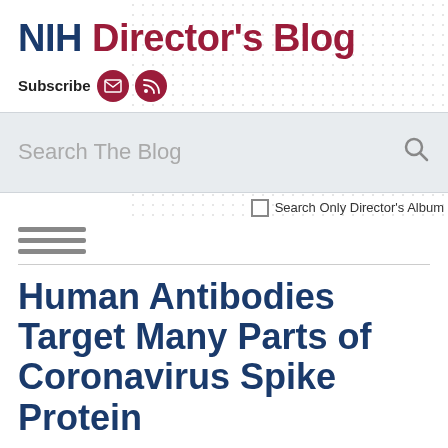NIH Director's Blog
Subscribe
[Figure (screenshot): Search The Blog input box with search icon and 'Search Only Director's Album' checkbox]
[Figure (other): Hamburger menu icon (three horizontal lines)]
Human Antibodies Target Many Parts of Coronavirus Spike Protein
Posted on May 18th, 2021 by Dr. Francis Collins